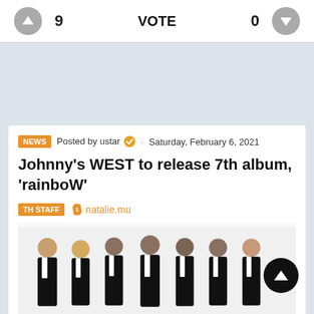9  VOTE  0
Posted by ustar · Saturday, February 6, 2021
Johnny's WEST to release 7th album, 'rainboW'
TH STAFF  natalie.mu
[Figure (photo): Seven members of Johnny's WEST posing in black suits]